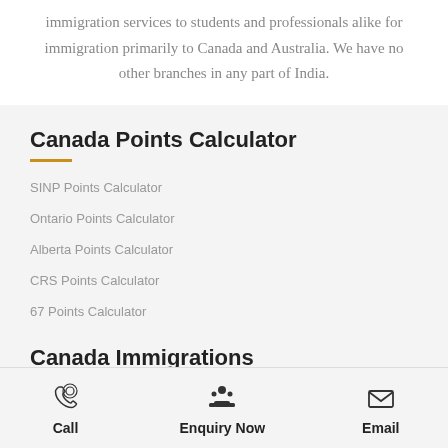immigration services to students and professionals alike for immigration primarily to Canada and Australia. We have no other branches in any part of India.
Canada Points Calculator
SINP Points Calculator
Ontario Points Calculator
Alberta Points Calculator
CRS Points Calculator
67 Points Calculator
Canada Immigrations
Call | Enquiry Now | Email